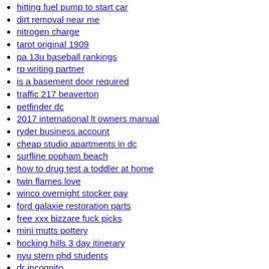hitting fuel pump to start car
dirt removal near me
nitrogen charge
tarot original 1909
pa 13u baseball rankings
rp writing partner
is a basement door required
traffic 217 beaverton
petfinder dc
2017 international lt owners manual
ryder business account
cheap studio apartments in dc
surfline popham beach
how to drug test a toddler at home
twin flames love
winco overnight stocker pay
ford galaxie restoration parts
free xxx bizzare fuck picks
mini mutts pottery
hocking hills 3 day itinerary
nyu stern phd students
dr incognito
takes 3 days to reply
unifi dhcp server not working
liminal space 3d model